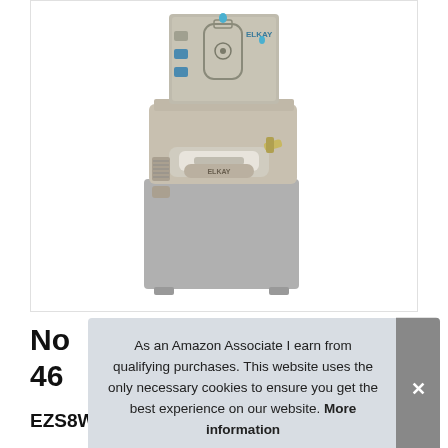[Figure (photo): Elkay EZS8WSLK EZH2O bottle filling station / water fountain combo unit in light gray/taupe finish, wall-mounted, with sensor-activated bottle filler on top panel and traditional bubbler with push lever below]
As an Amazon Associate I earn from qualifying purchases. This website uses the only necessary cookies to ensure you get the best experience on our website. More information
No 46
EZS8WSLK EZH2O Bottle Filling